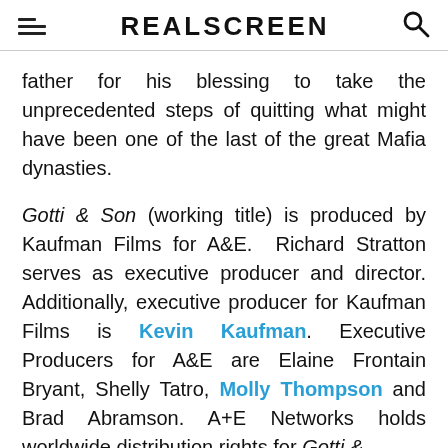REALSCREEN
father for his blessing to take the unprecedented steps of quitting what might have been one of the last of the great Mafia dynasties.
Gotti & Son (working title) is produced by Kaufman Films for A&E.  Richard Stratton serves as executive producer and director. Additionally, executive producer for Kaufman Films is Kevin Kaufman. Executive Producers for A&E are Elaine Frontain Bryant, Shelly Tatro, Molly Thompson and Brad Abramson. A+E Networks holds worldwide distribution rights for Gotti &